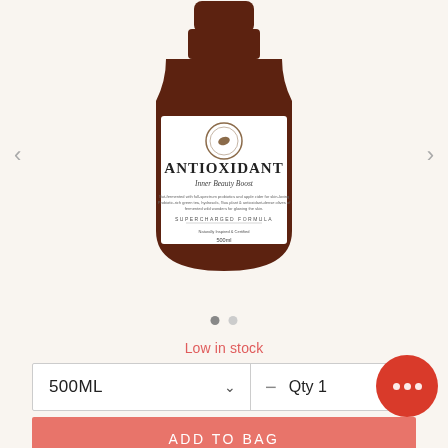[Figure (photo): Dark amber glass bottle of 'Antioxidant Inner Beauty Boost' 500ml product, displayed on a light cream background]
Low in stock
500ML
Qty 1
ADD TO BAG